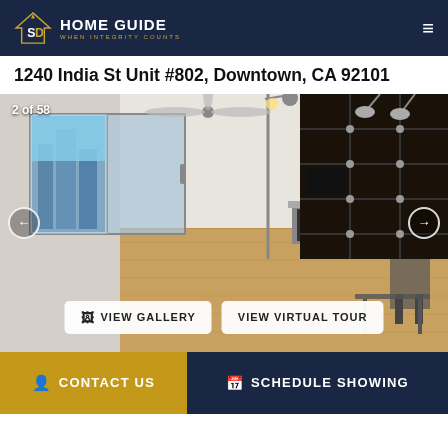SD HOME GUIDE — WHEN INTEGRITY COUNTS
1240 India St Unit #802, Downtown, CA 92101
[Figure (photo): Interior photo of a modern condo living room with hardwood floors, ceiling fan, large sliding glass doors with city view, a fireplace, and a large dark modular shelving unit. Photo counter shows '2 of 58'. Navigation arrows on left and right sides.]
VIEW GALLERY
VIEW VIRTUAL TOUR
CONTACT US
SCHEDULE SHOWING